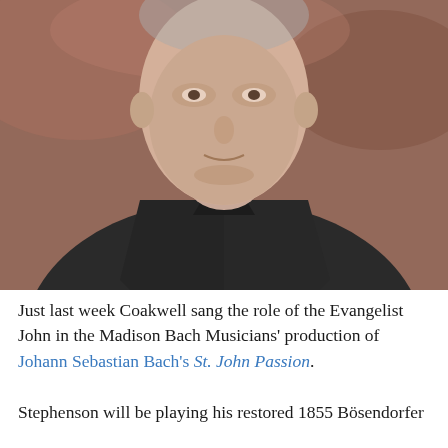[Figure (photo): Portrait photo of a man in a dark suit jacket with a dark shirt and a deep burgundy/maroon tie, photographed from the chest up. Blurred brick wall background.]
Just last week Coakwell sang the role of the Evangelist John in the Madison Bach Musicians' production of Johann Sebastian Bach's St. John Passion. Stephenson will be playing his restored 1855 Bösendorfer